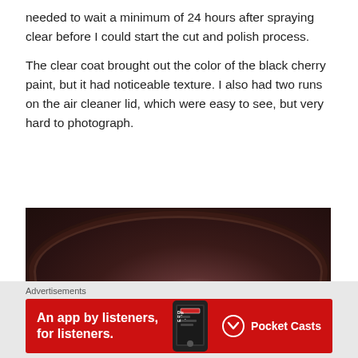needed to wait a minimum of 24 hours after spraying clear before I could start the cut and polish process.
The clear coat brought out the color of the black cherry paint, but it had noticeable texture. I also had two runs on the air cleaner lid, which were easy to see, but very hard to photograph.
[Figure (photo): Close-up photo of a black cherry painted air cleaner lid showing texture and runs on the surface, with a light reflection visible in the center.]
Advertisements
[Figure (other): Advertisement banner for Pocket Casts app: 'An app by listeners, for listeners.' with red background and phone graphic.]